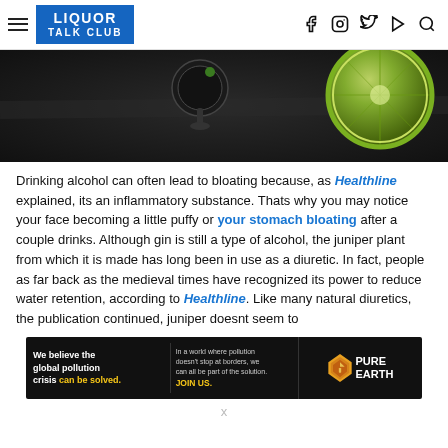LIQUOR TALK CLUB — navigation header with social icons
[Figure (photo): Dark moody top-down photo of a cocktail glass with a lime slice on a dark surface]
Drinking alcohol can often lead to bloating because, as Healthline explained, its an inflammatory substance. Thats why you may notice your face becoming a little puffy or your stomach bloating after a couple drinks. Although gin is still a type of alcohol, the juniper plant from which it is made has long been in use as a diuretic. In fact, people as far back as the medieval times have recognized its power to reduce water retention, according to Healthline. Like many natural diuretics, the publication continued, juniper doesnt seem to
[Figure (other): Pure Earth advertisement banner: 'We believe the global pollution crisis can be solved. In a world where pollution doesn't stop at borders, we can all be part of the solution. JOIN US.' with Pure Earth logo]
x